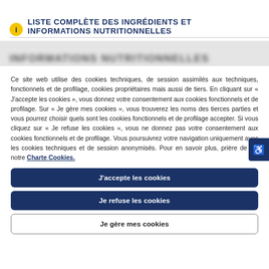LISTE COMPLÈTE DES INGRÉDIENTS ET INFORMATIONS NUTRITIONNELLES
Ce site web utilise des cookies techniques, de session assimilés aux techniques, fonctionnels et de profilage, cookies propriétaires mais aussi de tiers. En cliquant sur « J'accepte les cookies », vous donnez votre consentement aux cookies fonctionnels et de profilage. Sur « Je gère mes cookies », vous trouverez les noms des tierces parties et vous pourrez choisir quels sont les cookies fonctionnels et de profilage accepter. Si vous cliquez sur « Je refuse les cookies », vous ne donnez pas votre consentement aux cookies fonctionnels et de profilage. Vous poursuivrez votre navigation uniquement avec les cookies techniques et de session anonymisés. Pour en savoir plus, prière de lire notre Charte Cookies.
J'accepte les cookies
Je refuse les cookies
Je gère mes cookies